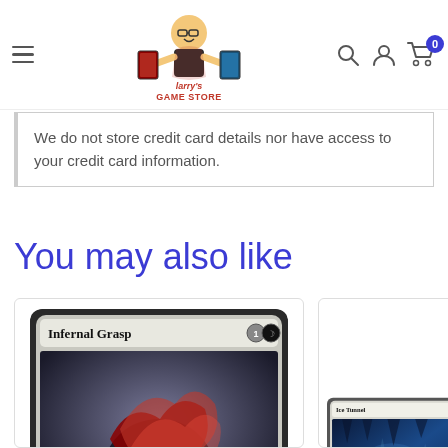Larry's Game Store navigation bar with hamburger menu, logo, search icon, account icon, and cart with 0 items
We do not store credit card details nor have access to your credit card information.
You may also like
[Figure (photo): Magic: The Gathering card 'Infernal Grasp' — dark figure with red flowing elements on grey background, mana cost 1B]
[Figure (photo): Magic: The Gathering card 'Ice Tunnel' — blue icy cave art, partially visible]